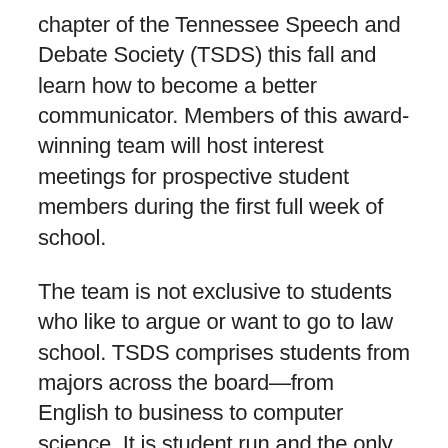chapter of the Tennessee Speech and Debate Society (TSDS) this fall and learn how to become a better communicator. Members of this award-winning team will host interest meetings for prospective student members during the first full week of school.
The team is not exclusive to students who like to argue or want to go to law school. TSDS comprises students from majors across the board—from English to business to computer science. It is student run and the only competitive speech and debate team on campus. To date, the team has taken home five national championships.
"Joining the team doesn't just make you a